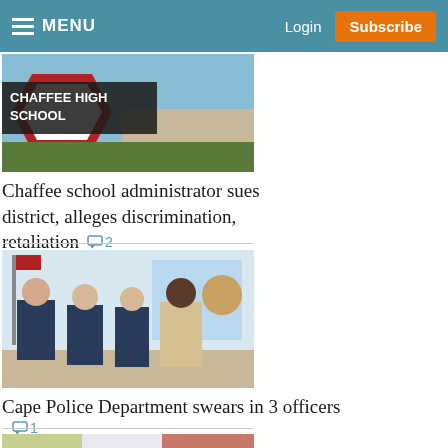MENU   Login   Subscribe
[Figure (photo): Chaffee High School sign outdoors against blue sky]
Chaffee school administrator sues district, alleges discrimination, retaliation  💬2
[Figure (photo): Four people posing together indoors; three in police uniforms and one in a tan suit]
Cape Police Department swears in 3 officers  💬1
[Figure (photo): Partial image at bottom of page, cropped]